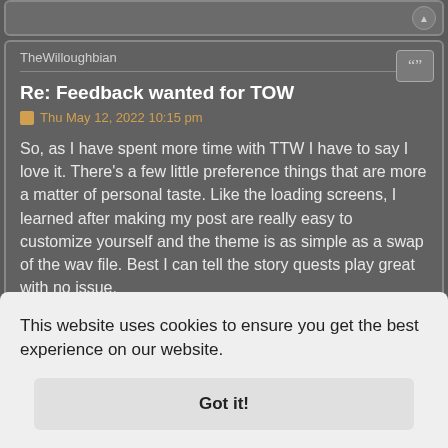TheWilloughbian
Re: Feedback wanted for TOW
Thu May 12, 2022 10:15 pm
So, as I have spent more time with TTW I have to say I love it. There's a few little preference things that are more a matter of personal taste. Like the loading screens, I learned after making my post are really easy to customize yourself and the theme is as simple as a swap of the wav file. Best I can tell the story quests play great with no issue.
I agree with a suggestion I have seen that maybe the FO3 ...ny old ...ow ...elp ...work to ...uch. ...of ...few of my own weapons with guns using FO3 stats just for my own
This website uses cookies to ensure you get the best experience on our website.
Got it!